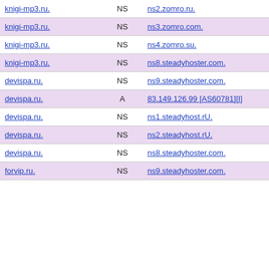| knigi-mp3.ru. | NS | ns2.zomro.ru. |
| knigi-mp3.ru. | NS | ns3.zomro.com. |
| knigi-mp3.ru. | NS | ns4.zomro.su. |
| knigi-mp3.ru. | NS | ns8.steadyhoster.com. |
| devispa.ru. | NS | ns9.steadyhoster.com. |
| devispa.ru. | A | 83.149.126.99 [AS60781][I] |
| devispa.ru. | NS | ns1.steadyhost.rU. |
| devispa.ru. | NS | ns2.steadyhost.rU. |
| devispa.ru. | NS | ns8.steadyhoster.com. |
| forvip.ru. | NS | ns9.steadyhoster.com. |